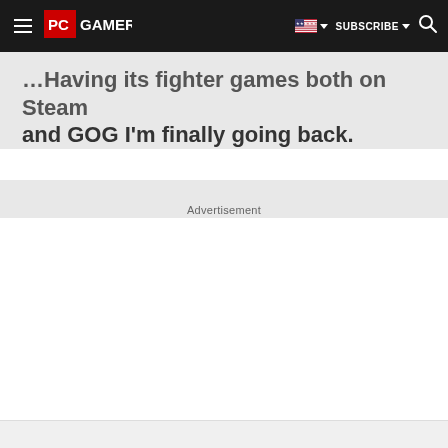PC Gamer | SUBSCRIBE
...games both on Steam and GOG I'm finally going back.
Advertisement